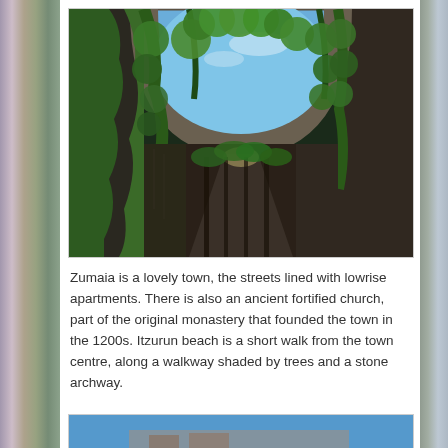[Figure (photo): View through a large stone archway looking up at lush green ivy-covered walls and trees with blue sky visible above, forming a shaded walkway tunnel]
Zumaia is a lovely town, the streets lined with lowrise apartments. There is also an ancient fortified church, part of the original monastery that founded the town in the 1200s. Itzurun beach is a short walk from the town centre, along a walkway shaded by trees and a stone archway.
[Figure (photo): Partial view of a building or structure against a blue sky]